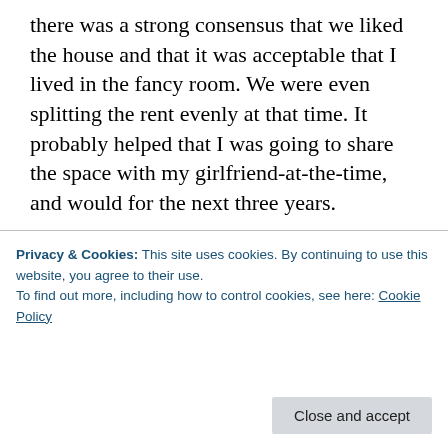there was a strong consensus that we liked the house and that it was acceptable that I lived in the fancy room. We were even splitting the rent evenly at that time. It probably helped that I was going to share the space with my girlfriend-at-the-time, and would for the next three years.
[Figure (other): Longreads advertisement banner — red background with white border, Longreads logo and tagline 'The best stories on the web – ours, and everyone else's']
Six years later, the community is mostly dispersed. (Marriages and breakups, mostly, plus a dash of failure of
Privacy & Cookies: This site uses cookies. By continuing to use this website, you agree to their use.
To find out more, including how to control cookies, see here: Cookie Policy
Close and accept